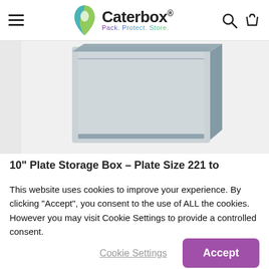Caterbox® Pack. Protect. Store.
[Figure (photo): Product photo of a 10-inch plate storage box, showing a rectangular grey storage container with a lid, partially visible at top of page.]
10" Plate Storage Box – Plate Size 221 to 280mm
This website uses cookies to improve your experience. By clicking "Accept", you consent to the use of ALL the cookies. However you may visit Cookie Settings to provide a controlled consent.
Cookie Settings | Accept